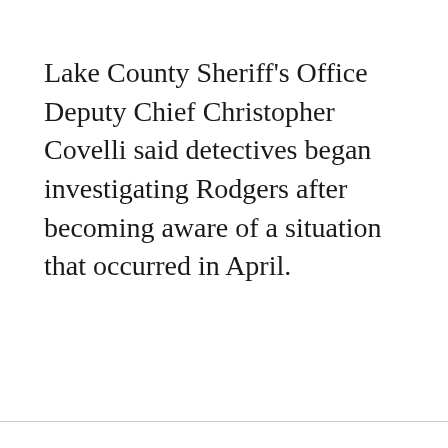Lake County Sheriff's Office Deputy Chief Christopher Covelli said detectives began investigating Rodgers after becoming aware of a situation that occurred in April.